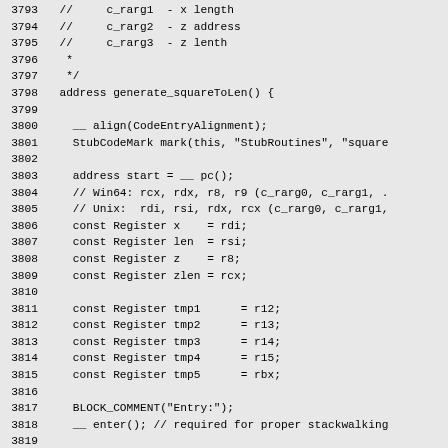Source code listing lines 3793-3822, showing generate_squareToLen() function implementation in assembly stub code with register assignments and setup_arg_regs call.